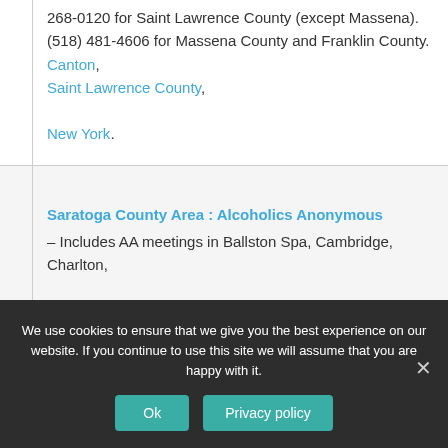268-0120 for Saint Lawrence County (except Massena). (518) 481-4606 for Massena County and Franklin County. Canton, Saint Lawrence County, New York.
Saratoga County Area : Alcoholics Anonymous – Includes AA meetings in Ballston Spa, Cambridge, Charlton,
We use cookies to ensure that we give you the best experience on our website. If you continue to use this site we will assume that you are happy with it.